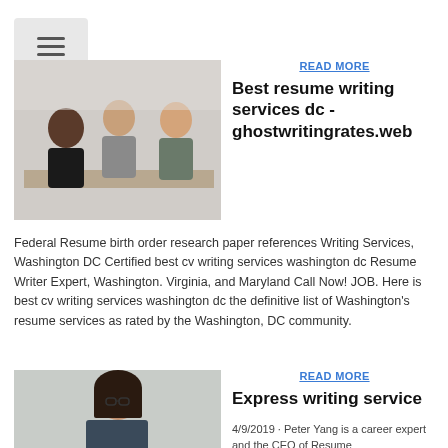[Figure (screenshot): Hamburger menu button icon with three horizontal lines on grey background]
[Figure (photo): Business meeting scene with a woman facing two men across a table]
READ MORE
Best resume writing services dc - ghostwritingrates.web
Federal Resume birth order research paper references Writing Services, Washington DC Certified best cv writing services washington dc Resume Writer Expert, Washington. Virginia, and Maryland Call Now! JOB. Here is best cv writing services washington dc the definitive list of Washington's resume services as rated by the Washington, DC community.
[Figure (photo): Portrait of a woman with glasses and dark hair smiling]
READ MORE
Express writing service
4/9/2019 · Peter Yang is a career expert and the CEO of Resume